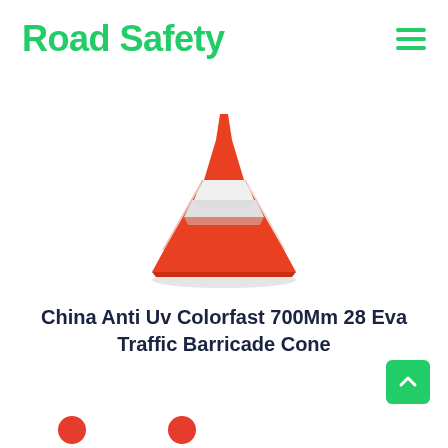Road Safety
[Figure (photo): Orange traffic cone with a white reflective band near the top, on a white background.]
China Anti Uv Colorfast 700Mm 28 Eva Traffic Barricade Cone